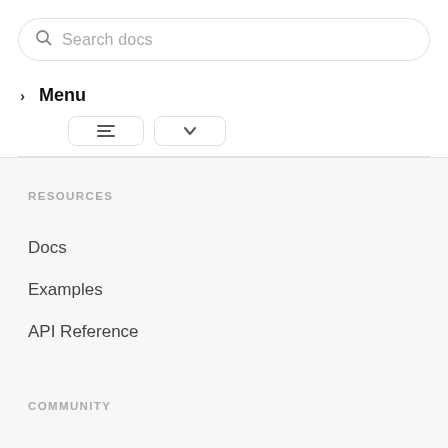Search docs
> Menu
[Figure (screenshot): Two partially visible navigation buttons with icons]
RESOURCES
Docs
Examples
API Reference
COMMUNITY